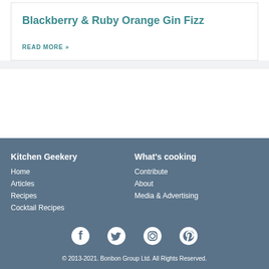Blackberry & Ruby Orange Gin Fizz
READ MORE »
Kitchen Geekery
Home
Articles
Recipes
Cocktail Recipes
What's cooking
Contribute
About
Media & Advertising
[Figure (illustration): Social media icons: Facebook, Twitter, Instagram, Pinterest]
© 2013-2021. Bonbon Group Ltd. All Rights Reserved.